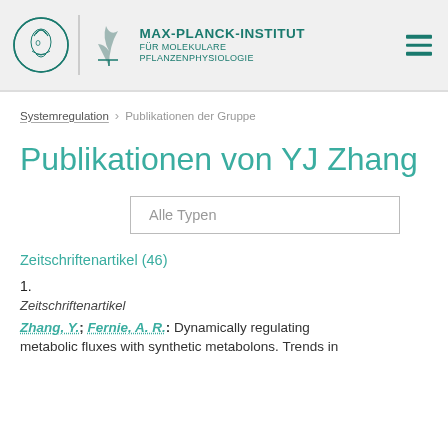[Figure (logo): Max-Planck-Institut für Molekulare Pflanzenphysiologie logo with circular emblem and leaf graphic]
MAX-PLANCK-INSTITUT FÜR MOLEKULARE PFLANZENPHYSIOLOGIE
Systemregulation > Publikationen der Gruppe
Publikationen von YJ Zhang
Alle Typen
Zeitschriftenartikel (46)
1.
Zeitschriftenartikel
Zhang, Y.; Fernie, A. R.: Dynamically regulating metabolic fluxes with synthetic metabolons. Trends in